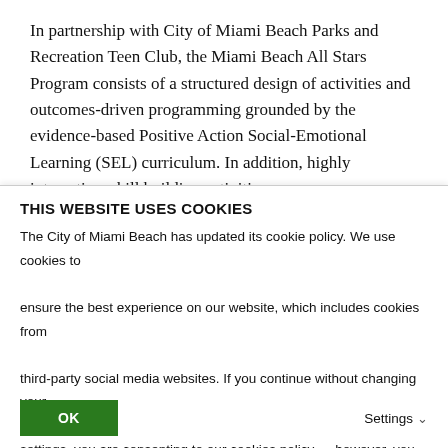In partnership with City of Miami Beach Parks and Recreation Teen Club, the Miami Beach All Stars Program consists of a structured design of activities and outcomes-driven programming grounded by the evidence-based Positive Action Social-Emotional Learning (SEL) curriculum. In addition, highly interactive, skill building activities are provided in the following areas: academic...
THIS WEBSITE USES COOKIES
The City of Miami Beach has updated its cookie policy. We use cookies to ensure the best experience on our website, which includes cookies from third-party social media websites. If you continue without changing your settings, you are consenting to our cookies policy — however, you may change your settings at any time.